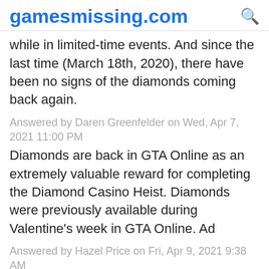gamesmissing.com
while in limited-time events. And since the last time (March 18th, 2020), there have been no signs of the diamonds coming back again.
Answered by Daren Greenfelder on Wed, Apr 7, 2021 11:00 PM
Diamonds are back in GTA Online as an extremely valuable reward for completing the Diamond Casino Heist. Diamonds were previously available during Valentine's week in GTA Online. Ad
Answered by Hazel Price on Fri, Apr 9, 2021 9:38 AM
The latest GTA Online update has brought diamonds back to the Diamond Casino & Resort